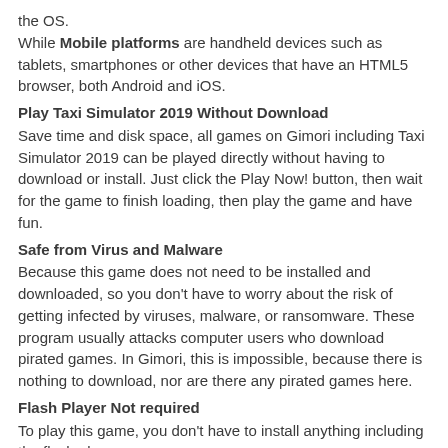the OS.
While Mobile platforms are handheld devices such as tablets, smartphones or other devices that have an HTML5 browser, both Android and iOS.
Play Taxi Simulator 2019 Without Download
Save time and disk space, all games on Gimori including Taxi Simulator 2019 can be played directly without having to download or install. Just click the Play Now! button, then wait for the game to finish loading, then play the game and have fun.
Safe from Virus and Malware
Because this game does not need to be installed and downloaded, so you don't have to worry about the risk of getting infected by viruses, malware, or ransomware. These program usually attacks computer users who download pirated games. In Gimori, this is impossible, because there is nothing to download, nor are there any pirated games here.
Flash Player Not required
To play this game, you don't have to install anything including the flash player.